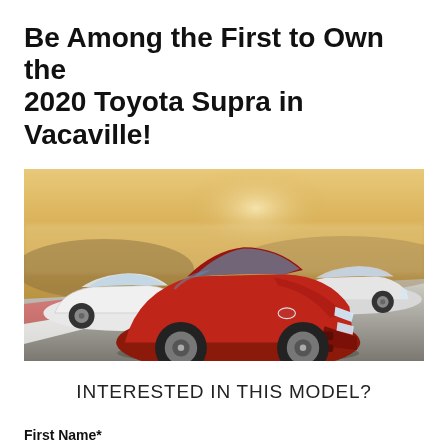Be Among the First to Own the 2020 Toyota Supra in Vacaville!
[Figure (photo): Three 2020 Toyota Supra sports cars on a race track — one red in the center foreground and two white/silver flanking it, shot in golden hour light with a warm hazy background.]
INTERESTED IN THIS MODEL?
First Name*
First Name*